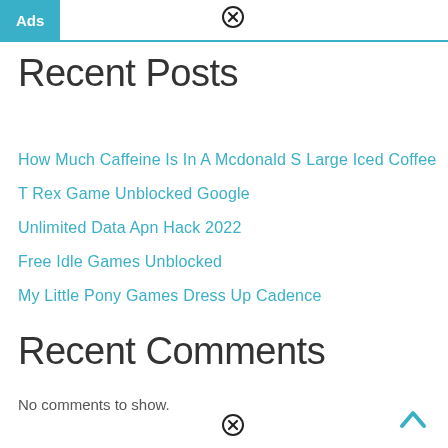Ads
Recent Posts
How Much Caffeine Is In A Mcdonald S Large Iced Coffee
T Rex Game Unblocked Google
Unlimited Data Apn Hack 2022
Free Idle Games Unblocked
My Little Pony Games Dress Up Cadence
Recent Comments
No comments to show.